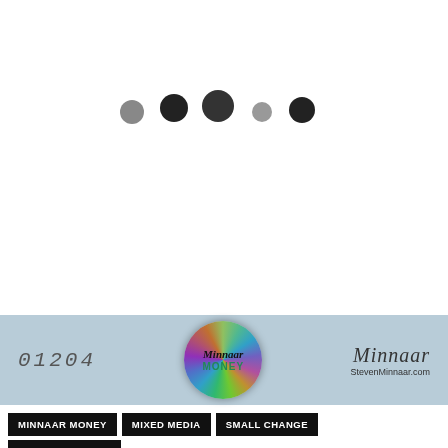[Figure (other): Five dark dots of varying sizes arranged in a loose horizontal line, decorative element on white background]
[Figure (other): Banner strip with light blue background showing: edition number '01204' on left, circular holographic sticker in center with 'Minnaar MONEY' text, and cursive 'Minnaar' signature with 'StevenMinnaar.com' on right]
MINNAAR MONEY
MIXED MEDIA
SMALL CHANGE
STEVEN MINNAAR